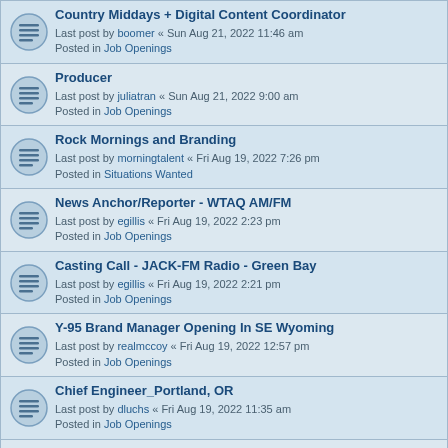Country Middays + Digital Content Coordinator
Last post by boomer « Sun Aug 21, 2022 11:46 am
Posted in Job Openings
Producer
Last post by juliatran « Sun Aug 21, 2022 9:00 am
Posted in Job Openings
Rock Mornings and Branding
Last post by morningtalent « Fri Aug 19, 2022 7:26 pm
Posted in Situations Wanted
News Anchor/Reporter - WTAQ AM/FM
Last post by egillis « Fri Aug 19, 2022 2:23 pm
Posted in Job Openings
Casting Call - JACK-FM Radio - Green Bay
Last post by egillis « Fri Aug 19, 2022 2:21 pm
Posted in Job Openings
Y-95 Brand Manager Opening In SE Wyoming
Last post by realmccoy « Fri Aug 19, 2022 12:57 pm
Posted in Job Openings
Chief Engineer_Portland, OR
Last post by dluchs « Fri Aug 19, 2022 11:35 am
Posted in Job Openings
Awesome home studio for, VO, Voice Tracking, Commercials, Station IDs
Last post by staycesmith « Fri Aug 19, 2022 10:35 am
Posted in Situations Wanted